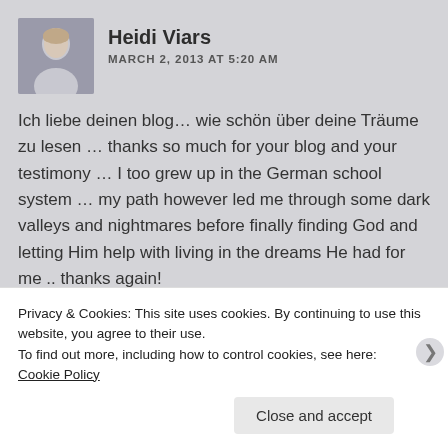Heidi Viars
MARCH 2, 2013 AT 5:20 AM
Ich liebe deinen blog… wie schön über deine Träume zu lesen … thanks so much for your blog and your testimony … I too grew up in the German school system … my path however led me through some dark valleys and nightmares before finally finding God and letting Him help with living in the dreams He had for me .. thanks again!
Reply
Privacy & Cookies: This site uses cookies. By continuing to use this website, you agree to their use.
To find out more, including how to control cookies, see here:
Cookie Policy
Close and accept